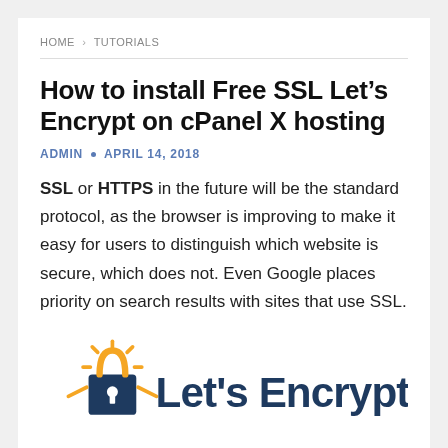HOME > TUTORIALS
How to install Free SSL Let’s Encrypt on cPanel X hosting
ADMIN • APRIL 14, 2018
SSL or HTTPS in the future will be the standard protocol, as the browser is improving to make it easy for users to distinguish which website is secure, which does not. Even Google places priority on search results with sites that use SSL.
[Figure (logo): Let’s Encrypt logo with padlock icon and rays, text reads Let’s Encrypt in dark navy blue]